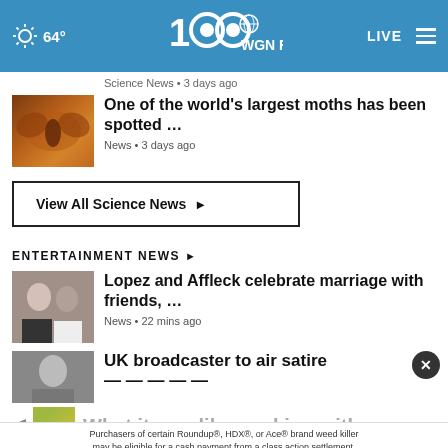WGN Radio 100 — 64° LIVE
Science News • 3 days ago
One of the world's largest moths has been spotted ...
News • 3 days ago
View All Science News ▶
ENTERTAINMENT NEWS ▶
Lopez and Affleck celebrate marriage with friends, ...
News • 22 mins ago
UK broadcaster to air satir...
What it was like working with